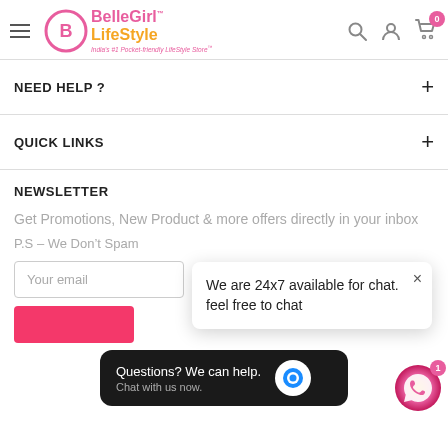BelleGirl™ LifeStyle — India's #1 Pocket-friendly LifeStyle Store™
NEED HELP ?
QUICK LINKS
NEWSLETTER
Get Promotions, New Product & more offers directly in your inbox
P.S – We Don't Spam
Your email
We are 24x7 available for chat. feel free to chat
Questions? We can help. Chat with us now.